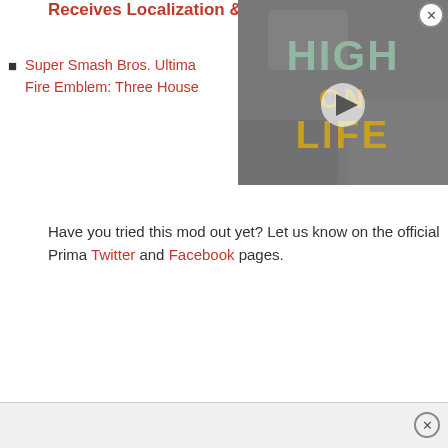Receives Localization & Release Date In US
Super Smash Bros. Ultimate / Fire Emblem: Three Houses
[Figure (screenshot): Video player thumbnail showing 'High on Life' game title overlay on a dark industrial background with a play button]
Have you tried this mod out yet? Let us know on the official Prima Twitter and Facebook pages.